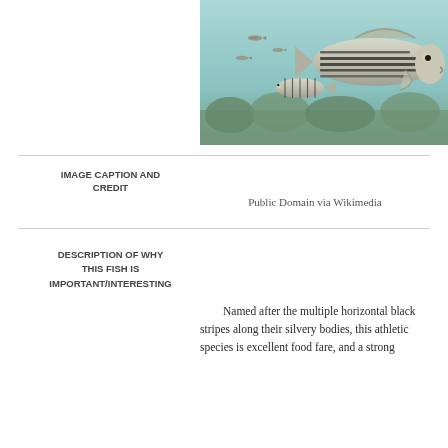[Figure (illustration): Illustration of striped bass fish swimming underwater, showing multiple fish with distinctive horizontal black stripes on silvery bodies, against a teal/green aquatic background with vegetation]
IMAGE CAPTION AND CREDIT
Public Domain via Wikimedia
DESCRIPTION OF WHY THIS FISH IS IMPORTANT/INTERESTING
Named after the multiple horizontal black stripes along their silvery bodies, this athletic species is excellent food fare, and a strong